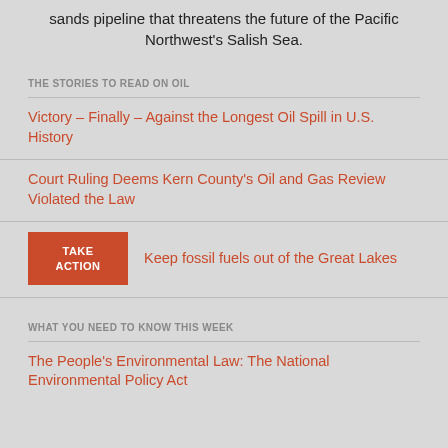sands pipeline that threatens the future of the Pacific Northwest's Salish Sea.
THE STORIES TO READ ON OIL
Victory – Finally – Against the Longest Oil Spill in U.S. History
Court Ruling Deems Kern County's Oil and Gas Review Violated the Law
TAKE ACTION  Keep fossil fuels out of the Great Lakes
WHAT YOU NEED TO KNOW THIS WEEK
The People's Environmental Law: The National Environmental Policy Act